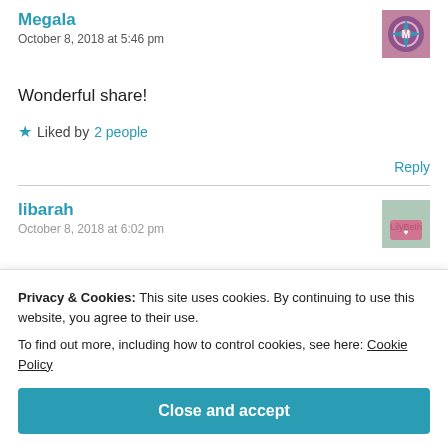Megala
October 8, 2018 at 5:46 pm
Wonderful share!
★ Liked by 2 people
Reply
libarah
October 8, 2018 at 6:02 pm
Privacy & Cookies: This site uses cookies. By continuing to use this website, you agree to their use.
To find out more, including how to control cookies, see here: Cookie Policy
Close and accept